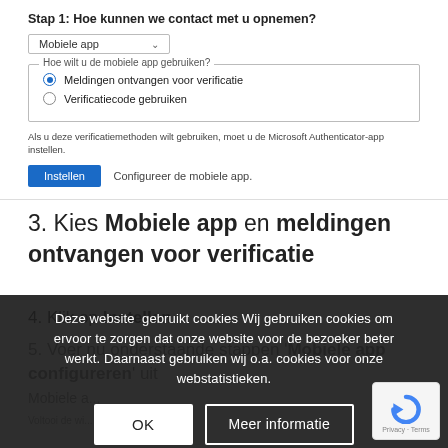[Figure (screenshot): Microsoft Authenticator setup UI: Step 1 dropdown 'Mobiele app', fieldset with radio options 'Meldingen ontvangen voor verificatie' (selected) and 'Verificatiecode gebruiken', info text about Microsoft Authenticator app, blue 'Instellen' button and label 'Configureer de mobiele app.']
3. Kies Mobiele app en meldingen ontvangen voor verificatie
4. Klik op Instellen
5. Voer nu onderstaande stappen 'Mobiele app configureren' uit
Mobiele a...
Voltooi de wi...
Deze website gebruikt cookies Wij gebruiken cookies om ervoor te zorgen dat onze website voor de bezoeker beter werkt. Daarnaast gebruiken wij o.a. cookies voor onze webstatistieken.
OK
Meer informatie